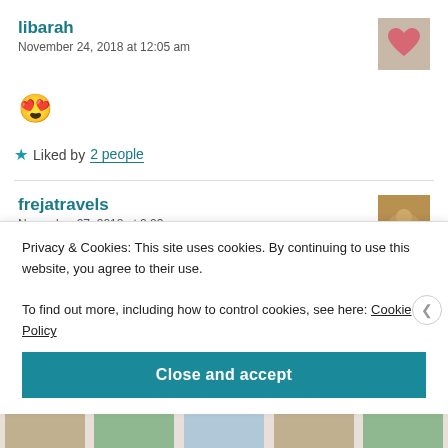libarah
November 24, 2018 at 12:05 am
😍
★ Liked by 2 people
frejatravels
November 27, 2018 at 2:23 pm
Privacy & Cookies: This site uses cookies. By continuing to use this website, you agree to their use.
To find out more, including how to control cookies, see here: Cookie Policy
Close and accept